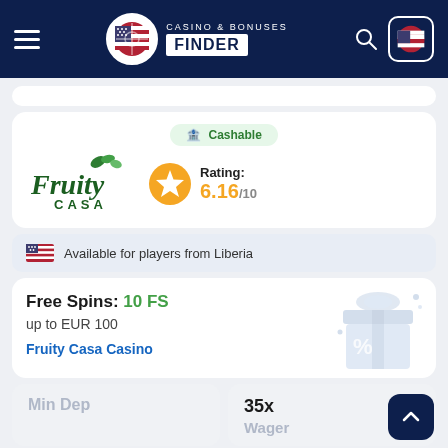Casino & Bonuses Finder
[Figure (screenshot): Fruity Casa casino logo in dark green script with leaf accents]
Cashable
Rating: 6.16/10
Available for players from Liberia
Free Spins: 10 FS up to EUR 100
Fruity Casa Casino
| Min Dep | Wager |
| --- | --- |
|  | 35x |
MGA
License